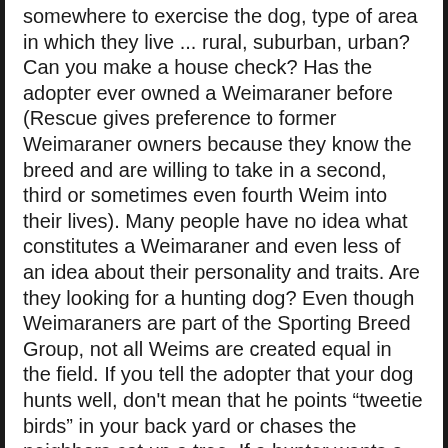somewhere to exercise the dog, type of area in which they live ... rural, suburban, urban? Can you make a house check? Has the adopter ever owned a Weimaraner before (Rescue gives preference to former Weimaraner owners because they know the breed and are willing to take in a second, third or sometimes even fourth Weim into their lives). Many people have no idea what constitutes a Weimaraner and even less of an idea about their personality and traits. Are they looking for a hunting dog? Even though Weimaraners are part of the Sporting Breed Group, not all Weims are created equal in the field. If you tell the adopter that your dog hunts well, don't mean that he points "tweetie birds" in your back yard or chases the neighbors cat up a tree. If a hunter wants a hunting dog and gets a Weim with no ability, you can bet your bottom dollar that your sweetie-pie will be back to you, or worse, in a shelter